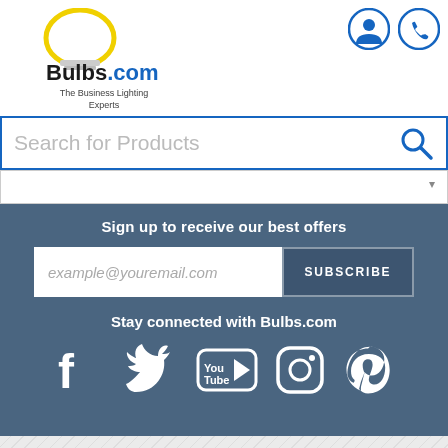[Figure (logo): Bulbs.com logo with yellow arch and tagline 'The Business Lighting Experts']
Search for Products
Sign up to receive our best offers
example@youremail.com
SUBSCRIBE
Stay connected with Bulbs.com
[Figure (infographic): Social media icons: Facebook, Twitter, YouTube, Instagram, Pinterest]
Company Info
Business Center
Customer Service
Resources
Blogs
1-888-455-2800
Email Us
Accepted Payments